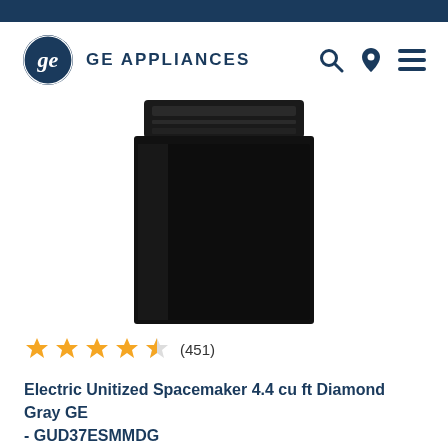GE APPLIANCES
[Figure (photo): GE Electric Unitized Spacemaker washer/dryer unit in Diamond Gray color, top-loading, viewed from front. Unit is mostly black/dark gray.]
★★★★½ (451)
Electric Unitized Spacemaker 4.4 cu ft Diamond Gray GE - GUD37ESMMDG